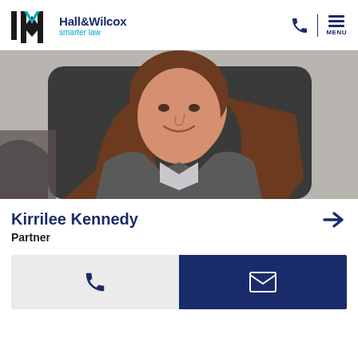[Figure (logo): Hall&Wilcox smarter law logo with stylized H/W icon in black and blue]
[Figure (photo): Professional headshot of Kirrilee Kennedy, a woman with brown hair wearing a grey blazer, seated in front of a dark chair]
Kirrilee Kennedy
Partner
[Figure (infographic): Two contact buttons: a grey phone button and a dark blue email/envelope button]